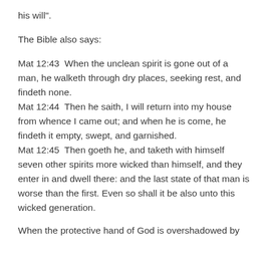his will".
The Bible also says:
Mat 12:43  When the unclean spirit is gone out of a man, he walketh through dry places, seeking rest, and findeth none.
Mat 12:44  Then he saith, I will return into my house from whence I came out; and when he is come, he findeth it empty, swept, and garnished.
Mat 12:45  Then goeth he, and taketh with himself seven other spirits more wicked than himself, and they enter in and dwell there: and the last state of that man is worse than the first. Even so shall it be also unto this wicked generation.
When the protective hand of God is overshadowed by